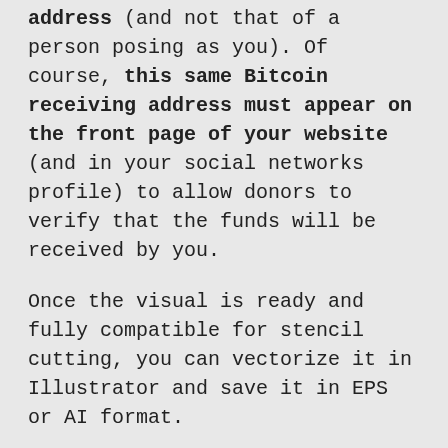address (and not that of a person posing as you). Of course, this same Bitcoin receiving address must appear on the front page of your website (and in your social networks profile) to allow donors to verify that the funds will be received by you.
Once the visual is ready and fully compatible for stencil cutting, you can vectorize it in Illustrator and save it in EPS or AI format.
Last step, send this file to a provider who makes stencil cutting.
It's up to you to choose the provider that best suits your location, price and time. Choose a format that suits your job. For